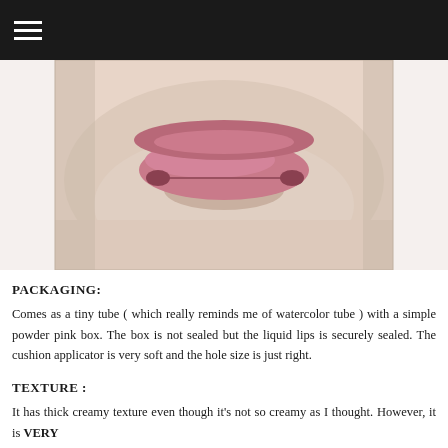≡
[Figure (photo): Close-up photo of a person's lower face showing lips with pink/mauve lipstick applied, pale skin, chin visible, cropped image against white background]
PACKAGING:
Comes as a tiny tube ( which really reminds me of watercolor tube ) with a simple powder pink box. The box is not sealed but the liquid lips is securely sealed. The cushion applicator is very soft and the hole size is just right.
TEXTURE :
It has thick creamy texture even though it's not so creamy as I thought. However, it is VERY